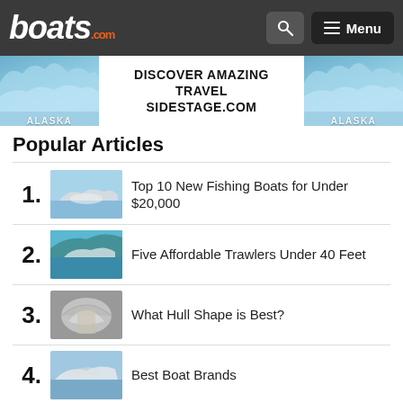boats.com — Menu
[Figure (photo): Advertisement banner: Discover Amazing Travel SideStage.com with Alaska glacier imagery]
Popular Articles
1. Top 10 New Fishing Boats for Under $20,000
2. Five Affordable Trawlers Under 40 Feet
3. What Hull Shape is Best?
4. Best Boat Brands
5. What Type is Right for You? Top 10 Choices for Boats